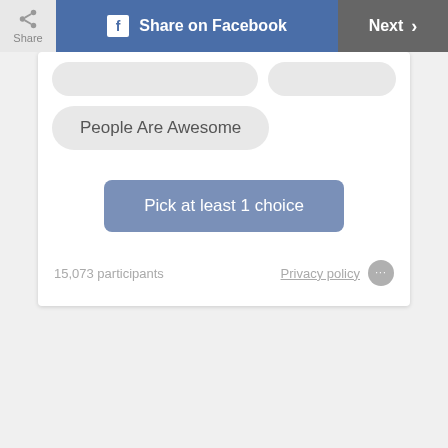[Figure (screenshot): Social media share bar with Share icon, Share on Facebook button, and Next button]
People Are Awesome
Pick at least 1 choice
15,073 participants
Privacy policy